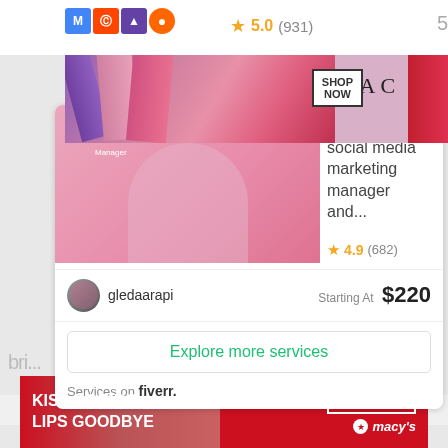[Figure (screenshot): MAC cosmetics advertisement banner with lipsticks and SHOP NOW button]
[Figure (screenshot): Fiverr service listing card for social media marketing manager gledaarapi, rated 4.9 (682), starting at $220]
I will be your social media marketing manager and...
4.9 (682)
gledaarapi
Starting At $220
Explore more services
Services on fiverr.
[Figure (screenshot): Macy's advertisement: KISS BORING LIPS GOODBYE with SHOP NOW button]